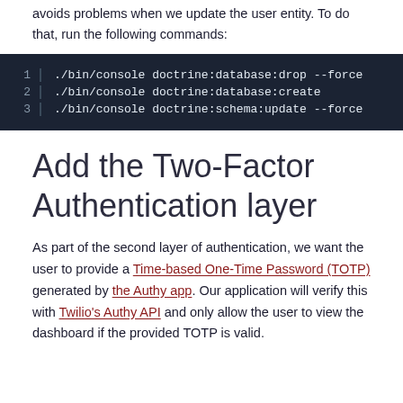avoids problems when we update the user entity. To do that, run the following commands:
1  ./bin/console doctrine:database:drop --force
2  ./bin/console doctrine:database:create
3  ./bin/console doctrine:schema:update --force
Add the Two-Factor Authentication layer
As part of the second layer of authentication, we want the user to provide a Time-based One-Time Password (TOTP) generated by the Authy app. Our application will verify this with Twilio's Authy API and only allow the user to view the dashboard if the provided TOTP is valid.